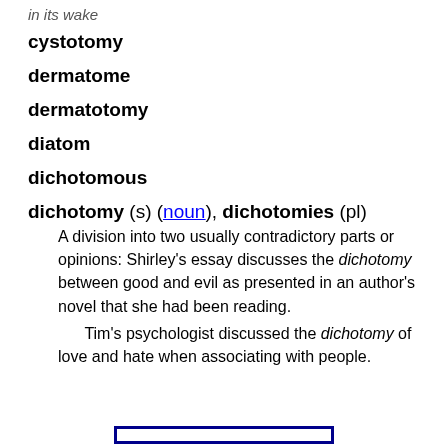in its wake
cystotomy
dermatome
dermatotomy
diatom
dichotomous
dichotomy (s) (noun), dichotomies (pl)
    A division into two usually contradictory parts or opinions: Shirley's essay discusses the dichotomy between good and evil as presented in an author's novel that she had been reading.
        Tim's psychologist discussed the dichotomy of love and hate when associating with people.
[Figure (other): A boxed table or diagram with double border at the bottom of the page]